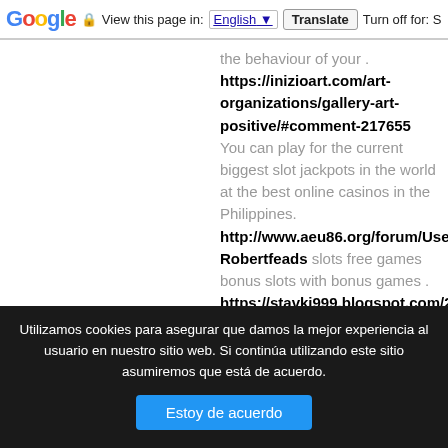Google  View this page in: English [▼]  Translate  Turn off for: S
the behaviour of your . https://inizioart.com/art-organizations/gallery-art-positive/#comment-217655 You can play for the current biggest slot jackpots in the world at the best online casinos in the Philippines. http://www.aeu86.org/forum/User-Robertfeads slots free games bonus slots with bonus games . https://stavki999.blogspot.com/2020/12/logincasi why not try these out https://stavkinasportoline.blogspot.com/2020/10/b post_9.html my latest blog post Sports and Full Review Gambling enthusiast
Utilizamos cookies para asegurar que damos la mejor experiencia al usuario en nuestro sitio web. Si continúa utilizando este sitio asumiremos que está de acuerdo.
Estoy de acuerdo